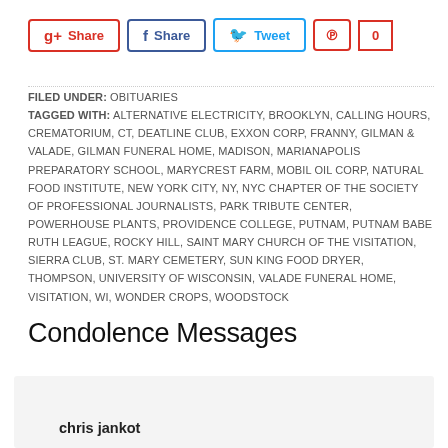[Figure (other): Social share buttons: Google+ Share, Facebook Share, Twitter Tweet, Pinterest with count 0]
FILED UNDER: OBITUARIES
TAGGED WITH: ALTERNATIVE ELECTRICITY, BROOKLYN, CALLING HOURS, CREMATORIUM, CT, DEATLINE CLUB, EXXON CORP, FRANNY, GILMAN & VALADE, GILMAN FUNERAL HOME, MADISON, MARIANAPOLIS PREPARATORY SCHOOL, MARYCREST FARM, MOBIL OIL CORP, NATURAL FOOD INSTITUTE, NEW YORK CITY, NY, NYC CHAPTER OF THE SOCIETY OF PROFESSIONAL JOURNALISTS, PARK TRIBUTE CENTER, POWERHOUSE PLANTS, PROVIDENCE COLLEGE, PUTNAM, PUTNAM BABE RUTH LEAGUE, ROCKY HILL, SAINT MARY CHURCH OF THE VISITATION, SIERRA CLUB, ST. MARY CEMETERY, SUN KING FOOD DRYER, THOMPSON, UNIVERSITY OF WISCONSIN, VALADE FUNERAL HOME, VISITATION, WI, WONDER CROPS, WOODSTOCK
Condolence Messages
chris jankot